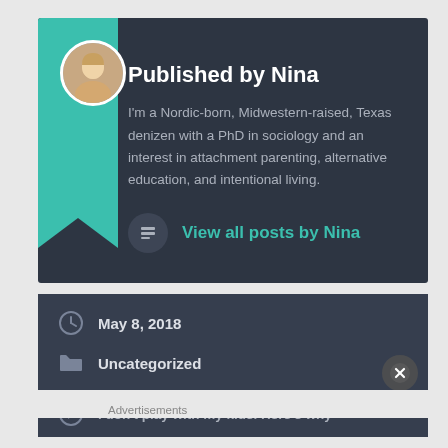Published by Nina
I'm a Nordic-born, Midwestern-raised, Texas denizen with a PhD in sociology and an interest in attachment parenting, alternative education, and intentional living.
View all posts by Nina
May 8, 2018
Uncategorized
I don't play with my kids. Here's why
Advertisements